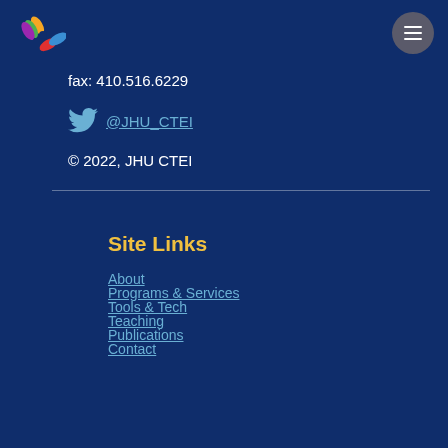[Figure (logo): JHU CTEI colorful pinwheel/flower logo top-left]
[Figure (other): Hamburger menu button circle top-right]
fax: 410.516.6229
@JHU_CTEI (Twitter link with bird icon)
© 2022, JHU CTEI
Site Links
About
Programs & Services
Tools & Tech
Teaching
Publications
Contact